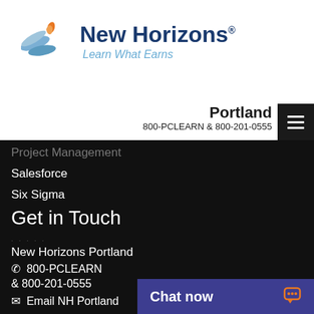[Figure (logo): New Horizons logo with stylized bird/wings icon in blue and orange, with text 'New Horizons' in dark blue and tagline 'Learn What Earns' in light blue italic]
Portland
800-PCLEARN  & 800-201-0555
Project Management
Salesforce
Six Sigma
Get in Touch
· · · · ·
New Horizons Portland
☎ 800-PCLEARN
& 800-201-0555
✉ Email NH Portland
Chat now